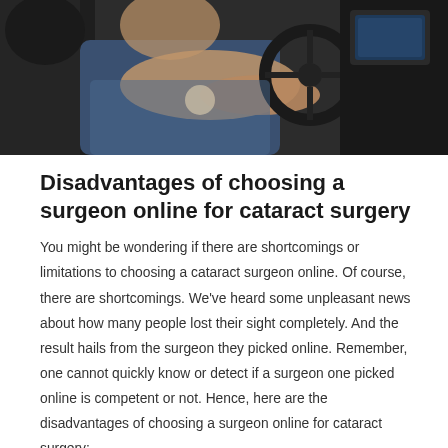[Figure (photo): Photo of a person inside a car, viewed from passenger side, showing dashboard and steering wheel]
Disadvantages of choosing a surgeon online for cataract surgery
You might be wondering if there are shortcomings or limitations to choosing a cataract surgeon online. Of course, there are shortcomings. We've heard some unpleasant news about how many people lost their sight completely. And the result hails from the surgeon they picked online. Remember, one cannot quickly know or detect if a surgeon one picked online is competent or not. Hence, here are the disadvantages of choosing a surgeon online for cataract surgery;
Difficulty in choosing: One of the shortcomings of selecting a surgeon online is that one may find it so hard to choose